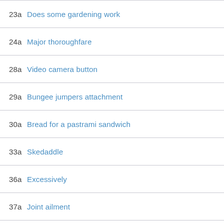23a Does some gardening work
24a Major thoroughfare
28a Video camera button
29a Bungee jumpers attachment
30a Bread for a pastrami sandwich
33a Skedaddle
36a Excessively
37a Joint ailment
38a With 41 Across classic love song sugg...
41a See 38 Across